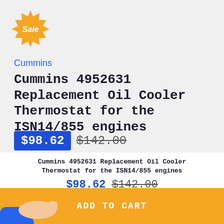[Figure (illustration): Orange starburst sale badge with white text 'Sale' in italic font]
Cummins
Cummins 4952631 Replacement Oil Cooler Thermostat for the ISN14/855 engines
$98.62  $142.00
Cummins 4952631 Replacement Oil Cooler Thermostat for the ISN14/855 engines
$98.62  $142.00
[Figure (illustration): Blue sleeve arm with pointing hand/finger emoji illustration on left side of Add to Cart button]
ADD TO CART